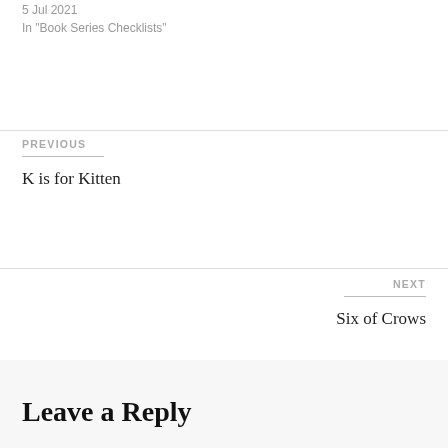5 Jul 2021
In "Book Series Checklists"
PREVIOUS
K is for Kitten
NEXT
Six of Crows
Leave a Reply